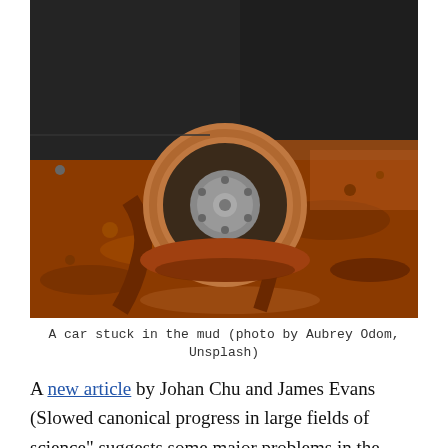[Figure (photo): A close-up photograph of a car tire stuck in deep red-brown mud, with the lower portion of a dark vehicle visible above. The mud is churned up around the tire showing tracks and disturbance.]
A car stuck in the mud (photo by Aubrey Odom, Unsplash)
A new article by Johan Chu and James Evans (Slowed canonical progress in large fields of science" suggests some major problems in the current state of scientific research. The authors, from a business school